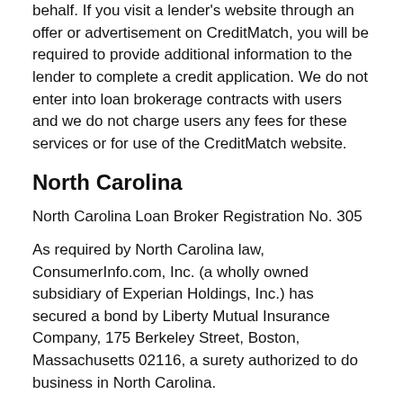behalf. If you visit a lender's website through an offer or advertisement on CreditMatch, you will be required to provide additional information to the lender to complete a credit application. We do not enter into loan brokerage contracts with users and we do not charge users any fees for these services or for use of the CreditMatch website.
North Carolina
North Carolina Loan Broker Registration No. 305
As required by North Carolina law, ConsumerInfo.com, Inc. (a wholly owned subsidiary of Experian Holdings, Inc.) has secured a bond by Liberty Mutual Insurance Company, 175 Berkeley Street, Boston, Massachusetts 02116, a surety authorized to do business in North Carolina.
DISCLOSURES REQUIRED BY NORTH CAROLINA LAW
The State of North Carolina has not reviewed and does not approve, recommend, endorse or sponsor any loan brokerage contract. The information contained in this disclosure has not been verified by the State. If you have any questions see an attorney before you sign a contract or agreement.
Pennsylvania